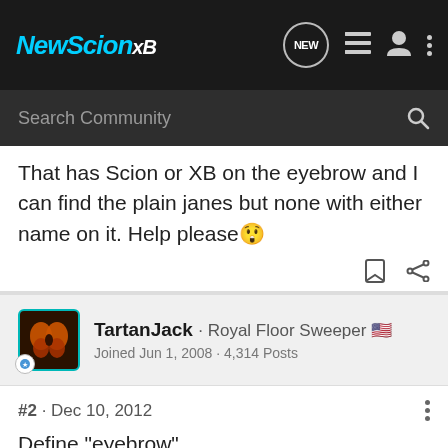[Figure (screenshot): NewScionXB forum navigation bar with logo, search icon, list icon, user icon, and more options icon]
That has Scion or XB on the eyebrow and I can find the plain janes but none with either name on it. Help please 😱
TartanJack · Royal Floor Sweeper 🇺🇸
Joined Jun 1, 2008 · 4,314 Posts
#2 · Dec 10, 2012
Define "eyebrow" . . .